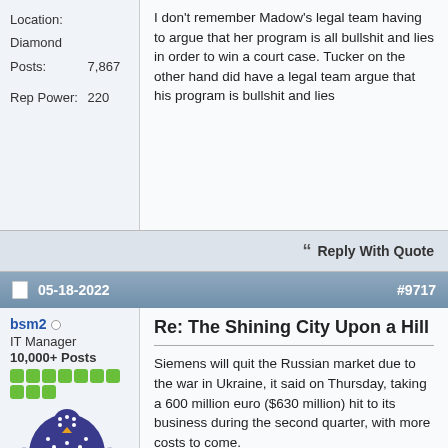Location: Diamond
Posts: 7,867
Rep Power: 220
I don't remember Madow's legal team having to argue that her program is all bullshit and lies in order to win a court case. Tucker on the other hand did have a legal team argue that his program is bullshit and lies
Reply With Quote
05-18-2022  #9717
bsm2
IT Manager
10,000+ Posts
Re: The Shining City Upon a Hill
Siemens will quit the Russian market due to the war in Ukraine, it said on Thursday, taking a 600 million euro ($630 million) hit to its business during the second quarter, with more costs to come.

The German industrial and